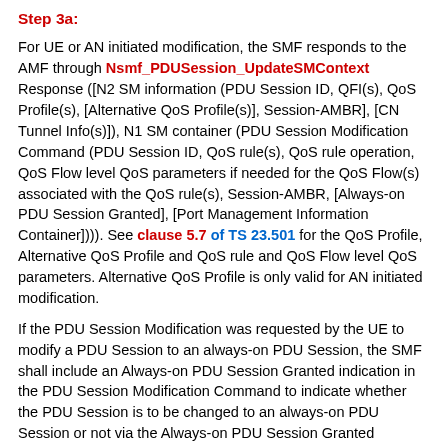Step 3a:
For UE or AN initiated modification, the SMF responds to the AMF through Nsmf_PDUSession_UpdateSMContext Response ([N2 SM information (PDU Session ID, QFI(s), QoS Profile(s), [Alternative QoS Profile(s)], Session-AMBR], [CN Tunnel Info(s)]), N1 SM container (PDU Session Modification Command (PDU Session ID, QoS rule(s), QoS rule operation, QoS Flow level QoS parameters if needed for the QoS Flow(s) associated with the QoS rule(s), Session-AMBR, [Always-on PDU Session Granted], [Port Management Information Container]))). See clause 5.7 of TS 23.501 for the QoS Profile, Alternative QoS Profile and QoS rule and QoS Flow level QoS parameters. Alternative QoS Profile is only valid for AN initiated modification.
If the PDU Session Modification was requested by the UE to modify a PDU Session to an always-on PDU Session, the SMF shall include an Always-on PDU Session Granted indication in the PDU Session Modification Command to indicate whether the PDU Session is to be changed to an always-on PDU Session or not via the Always-on PDU Session Granted indication in the PDU Session Modification Command.
The N2 SM information carries information that the AMF shall provide to the (R)AN. It may include the QoS profiles and the corresponding